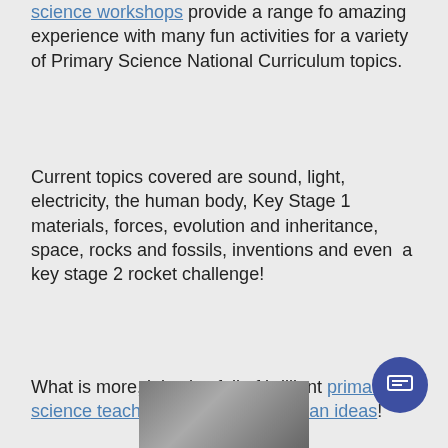science workshops provide a range fo amazing experience with many fun activities for a variety of Primary Science National Curriculum topics.
Current topics covered are sound, light, electricity, the human body, Key Stage 1 materials, forces, evolution and inheritance, space, rocks and fossils, inventions and even  a key stage 2 rocket challenge!
What is more, it is also full of brilliant primary science teaching tips and lesson plan ideas!
[Figure (photo): Photo of people at bottom of page, partially visible]